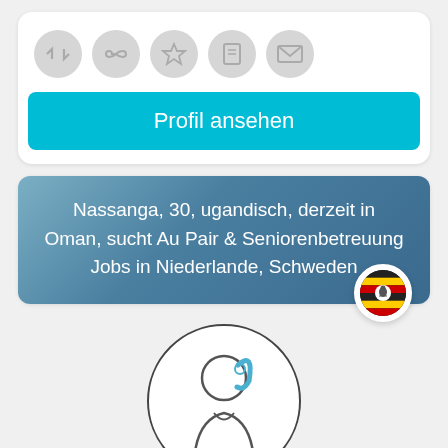[Figure (screenshot): Row of 5 grey circular icon buttons (eye/code, infinity/link, star, note/bookmark, envelope)]
Profil ansehen
Nassanga, 30, ugandisch, derzeit in Oman, sucht Au Pair & Seniorenbetreuung Jobs in Niederlande, Schweden
[Figure (illustration): Uganda flag circle badge]
[Figure (illustration): Female avatar outline illustration inside a circle]